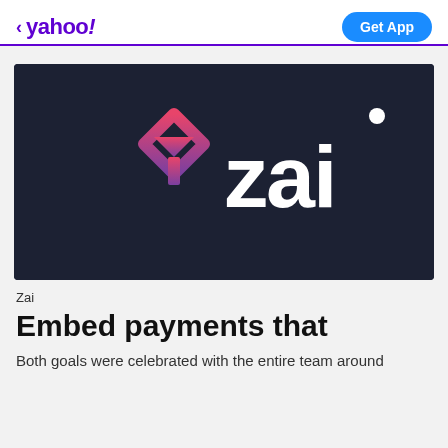< yahoo! | Get App
[Figure (logo): Zai company logo on dark navy background. Left side shows a geometric diamond/arrow icon with pink-to-purple gradient. Right side shows 'zai' in large white bold lowercase letters with a dot accent above the 'i'.]
Zai
Embed payments that
Both goals were celebrated with the entire team around